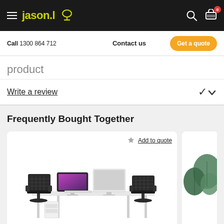jason.l — navigation header with hamburger menu, logo, search and cart icons
Call 1300 864 712   Contact us   Get a quote
product
Write a review
Frequently Bought Together
[Figure (photo): Office workstation bench desk with two computer monitors and mesh chairs]
Add to quote